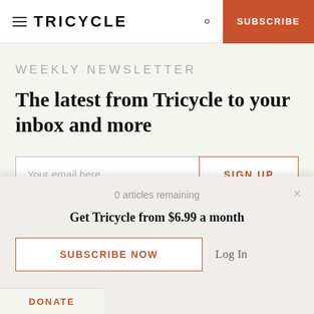≡ TRICYCLE  🔍  SUBSCRIBE
WEEKLY NEWSLETTER
The latest from Tricycle to your inbox and more
Your email here  |  SIGN UP
0 articles remaining
Get Tricycle from $6.99 a month
SUBSCRIBE NOW  Log In
DONATE